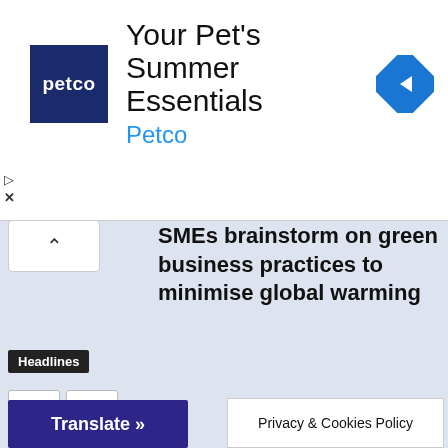[Figure (screenshot): Petco advertisement banner with Petco logo (dark blue square), headline 'Your Pet's Summer Essentials', subtext 'Petco' in blue, and a blue diamond navigation icon on the right.]
SMEs brainstorm on green business practices to minimise global warming
Headlines
Leave a Reply
Translate »
Privacy & Cookies Policy